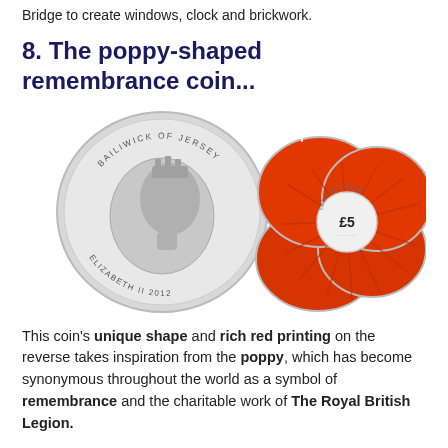Bridge to create windows, clock and brickwork.
8. The poppy-shaped remembrance coin...
[Figure (photo): Two commemorative coins: on the left, a silver coin showing the profile of Queen Elizabeth II with 'BAILIWICK OF JERSEY' and 'ELIZABETH II 2012' inscriptions. On the right, a poppy-shaped red enamel coin showing the reverse with '£5' and poppy petal design.]
This coin's unique shape and rich red printing on the reverse takes inspiration from the poppy, which has become synonymous throughout the world as a symbol of remembrance and the charitable work of The Royal British Legion.